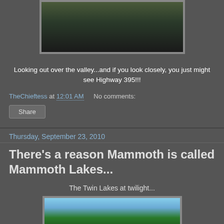[Figure (photo): Landscape photo showing valley with trees and mountains, dark tones]
Looking out over the valley...and if you look closely, you just might see Highway 395!!!
TheChieftess at 12:01 AM   No comments:
Share
Thursday, September 23, 2010
There's a reason Mammoth is called Mammoth Lakes...
The Twin Lakes at twilight...
[Figure (photo): Photo of Twin Lakes at twilight showing mountains, trees, and sky]